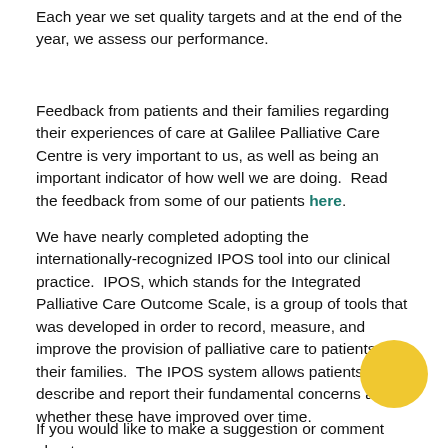Each year we set quality targets and at the end of the year, we assess our performance.
Feedback from patients and their families regarding their experiences of care at Galilee Palliative Care Centre is very important to us, as well as being an important indicator of how well we are doing.  Read the feedback from some of our patients here.
We have nearly completed adopting the internationally-recognized IPOS tool into our clinical practice.  IPOS, which stands for the Integrated Palliative Care Outcome Scale, is a group of tools that was developed in order to record, measure, and improve the provision of palliative care to patients and their families.  The IPOS system allows patients to describe and report their fundamental concerns and whether these have improved over time.
If you would like to make a suggestion or comment about